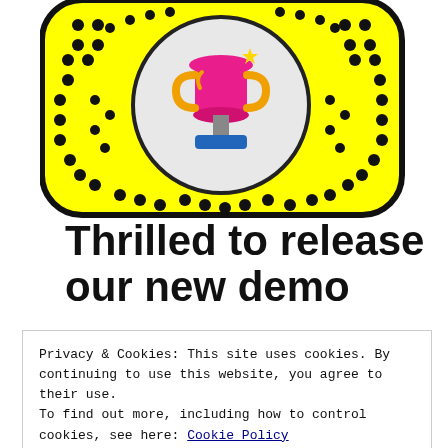[Figure (other): Snapchat-style QR code (Snapcode) with yellow background and black dots pattern, featuring a trophy/award illustration in the center circle]
Thrilled to release our new demo
Privacy & Cookies: This site uses cookies. By continuing to use this website, you agree to their use.
To find out more, including how to control cookies, see here: Cookie Policy
Close and accept
Pleased to announce that our demo